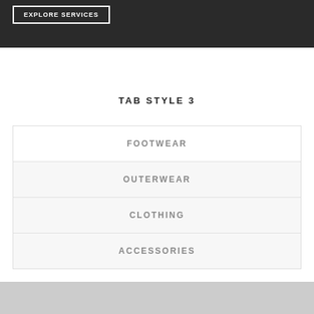EXPLORE SERVICES
TAB STYLE 3
FOOTWEAR
OUTERWEAR
CLOTHING
ACCESSORIES
[Figure (other): Gray placeholder image area at bottom of page]